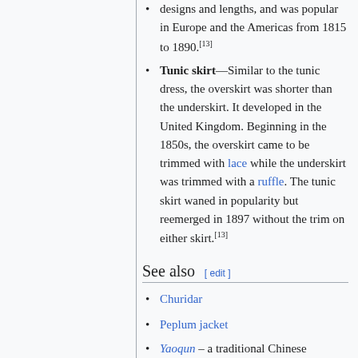designs and lengths, and was popular in Europe and the Americas from 1815 to 1890.[13]
Tunic skirt—Similar to the tunic dress, the overskirt was shorter than the underskirt. It developed in the United Kingdom. Beginning in the 1850s, the overskirt came to be trimmed with lace while the underskirt was trimmed with a ruffle. The tunic skirt waned in popularity but reemerged in 1897 without the trim on either skirt.[13]
See also
Churidar
Peplum jacket
Yaoqun – a traditional Chinese overskirt in Hanfu